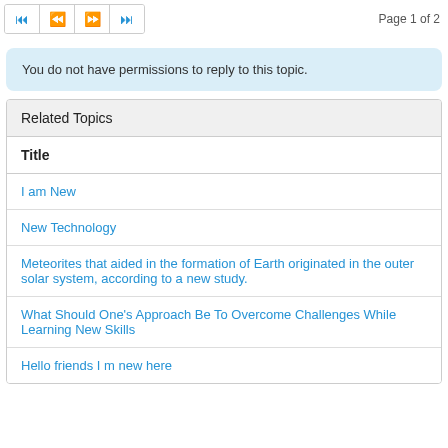Page 1 of 2
You do not have permissions to reply to this topic.
| Title |
| --- |
| I am New |
| New Technology |
| Meteorites that aided in the formation of Earth originated in the outer solar system, according to a new study. |
| What Should One's Approach Be To Overcome Challenges While Learning New Skills |
| Hello friends I m new here |